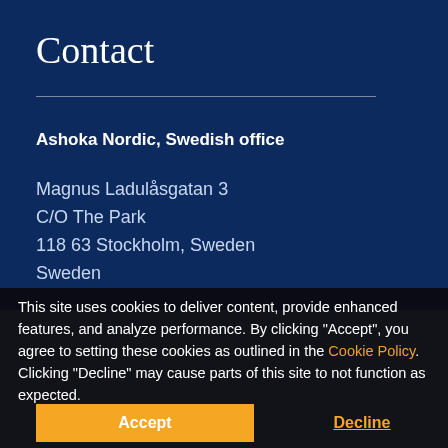Contact
Ashoka Nordic, Swedish office
Magnus Ladulåsgatan 3
C/O The Park
118 63 Stockholm, Sweden
Sweden
This site uses cookies to deliver content, provide enhanced features, and analyze performance. By clicking "Accept", you agree to setting these cookies as outlined in the Cookie Policy. Clicking "Decline" may cause parts of this site to not function as expected.
C/O Sofia Helsinki Sofiankatu 4
001...
Fin...